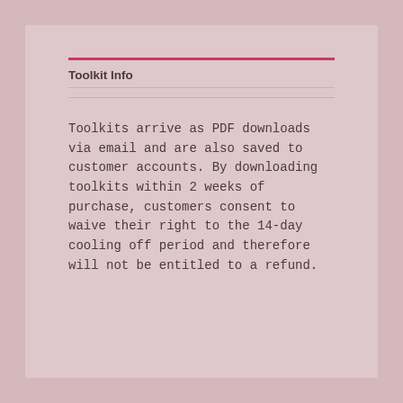Toolkit Info
Toolkits arrive as PDF downloads via email and are also saved to customer accounts. By downloading toolkits within 2 weeks of purchase, customers consent to waive their right to the 14-day cooling off period and therefore will not be entitled to a refund.